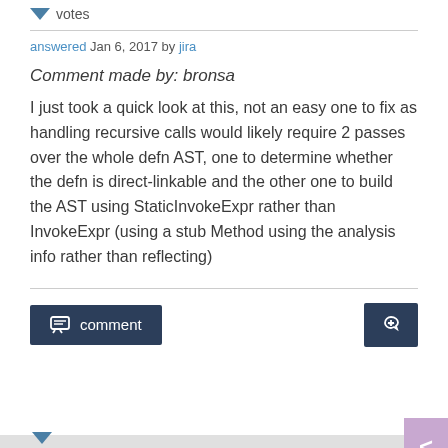votes
answered Jan 6, 2017 by jira
Comment made by: bronsa
I just took a quick look at this, not an easy one to fix as handling recursive calls would likely require 2 passes over the whole defn AST, one to determine whether the defn is direct-linkable and the other one to build the AST using StaticInvokeExpr rather than InvokeExpr (using a stub Method using the analysis info rather than reflecting)
comment
0 votes